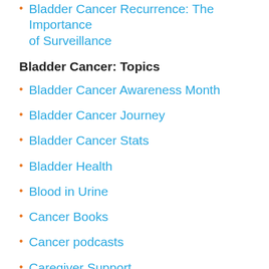Bladder Cancer Recurrence: The Importance of Surveillance
Bladder Cancer: Topics
Bladder Cancer Awareness Month
Bladder Cancer Journey
Bladder Cancer Stats
Bladder Health
Blood in Urine
Cancer Books
Cancer podcasts
Caregiver Support
Causes